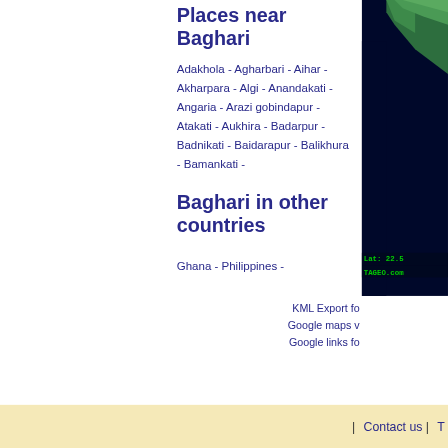Places near Baghari
Adakhola - Agharbari - Aihar - Akharpara - Algi - Anandakati - Angaria - Arazi gobindapur - Atakati - Aukhira - Badarpur - Badnikati - Baidarapur - Balikhura - Bamankati -
Baghari in other countries
Ghana - Philippines -
[Figure (map): Satellite/topographic map image showing coastal region, partially visible on right side with coordinate label Lat: 22.5 and TAGEO.com watermark]
KML Export fo
Google maps v
Google links fo
| Contact us | T